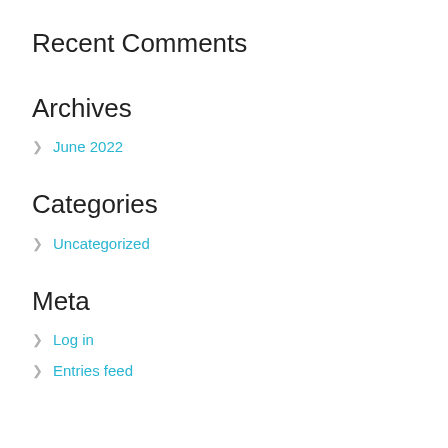Recent Comments
Archives
June 2022
Categories
Uncategorized
Meta
Log in
Entries feed